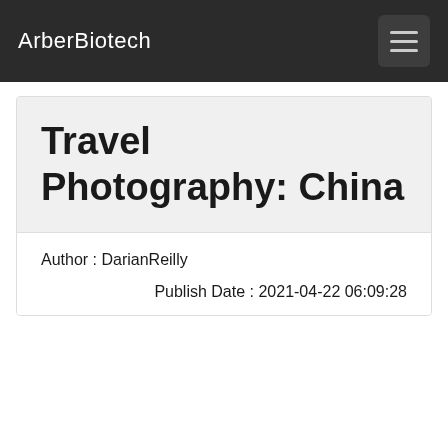ArberBiotech
Travel Photography: China
Author : DarianReilly
Publish Date : 2021-04-22 06:09:28